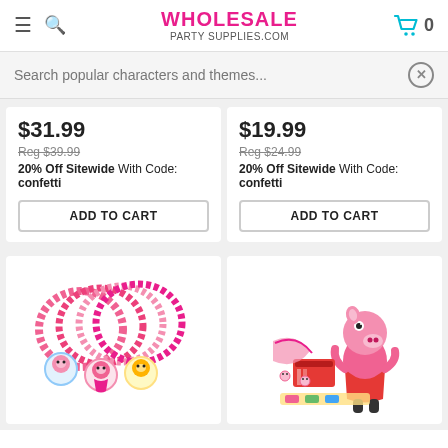WHOLESALE PARTY SUPPLIES.COM
Search popular characters and themes...
$31.99
Reg $39.99
20% Off Sitewide With Code: confetti
ADD TO CART
$19.99
Reg $24.99
20% Off Sitewide With Code: confetti
ADD TO CART
[Figure (photo): Peppa Pig charm bracelets - four pink beaded bracelets with Peppa Pig character charms]
[Figure (photo): Peppa Pig craft kit with Peppa Pig character cutout and various accessories]